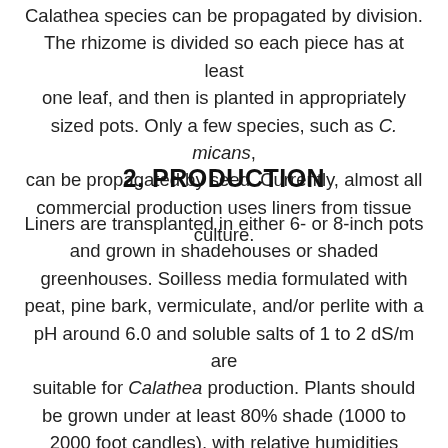Calathea species can be propagated by division. The rhizome is divided so each piece has at least one leaf, and then is planted in appropriately sized pots. Only a few species, such as C. micans, can be propagated by seed. Currently, almost all commercial production uses liners from tissue culture.
2. PRODUCTION
Liners are transplanted in either 6- or 8-inch pots and grown in shadehouses or shaded greenhouses. Soilless media formulated with peat, pine bark, vermiculate, and/or perlite with a pH around 6.0 and soluble salts of 1 to 2 dS/m are suitable for Calathea production. Plants should be grown under at least 80% shade (1000 to 2000 foot candles), with relative humidities between 50 to 100% and temperatures between